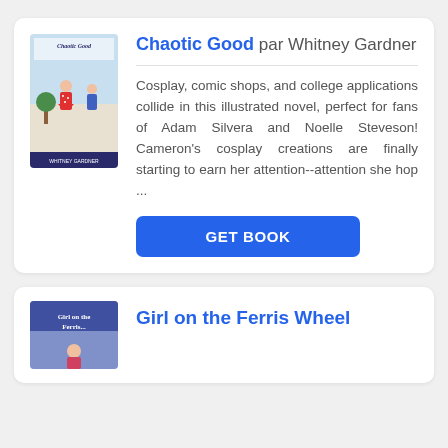[Figure (illustration): Book cover of 'Chaotic Good' by Whitney Gardner showing illustrated characters in vintage style clothing]
Chaotic Good par Whitney Gardner
Cosplay, comic shops, and college applications collide in this illustrated novel, perfect for fans of Adam Silvera and Noelle Steveson! Cameron's cosplay creations are finally starting to earn her attention--attention she hop ...
[Figure (illustration): Book cover of 'Girl on the Ferris Wheel' showing a person on a colorful background]
Girl on the Ferris Wheel